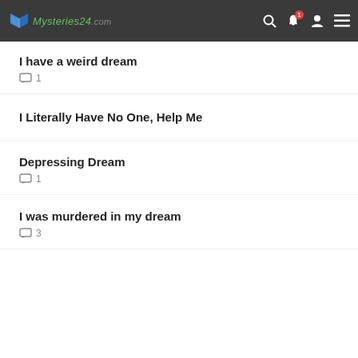Mysteries24.com
I have a weird dream
💬 1
I Literally Have No One, Help Me
Depressing Dream
💬 1
I was murdered in my dream
💬 3